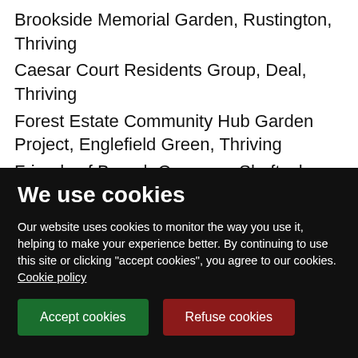Brookside Memorial Garden, Rustington, Thriving
Caesar Court Residents Group, Deal, Thriving
Forest Estate Community Hub Garden Project, Englefield Green, Thriving
Friends of Breach Common, Shaftesbury, Thriving
Friends of Harnham Slope, Salisbury, Thriving
We use cookies
Our website uses cookies to monitor the way you use it, helping to make your experience better. By continuing to use this site or clicking "accept cookies", you agree to our cookies. Cookie policy
Accept cookies
Refuse cookies